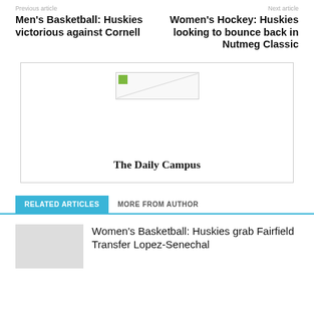Previous article
Next article
Men's Basketball: Huskies victorious against Cornell
Women's Hockey: Huskies looking to bounce back in Nutmeg Classic
[Figure (other): Broken image placeholder inside an ad/logo box for The Daily Campus]
The Daily Campus
RELATED ARTICLES
MORE FROM AUTHOR
Women's Basketball: Huskies grab Fairfield Transfer Lopez-Senechal